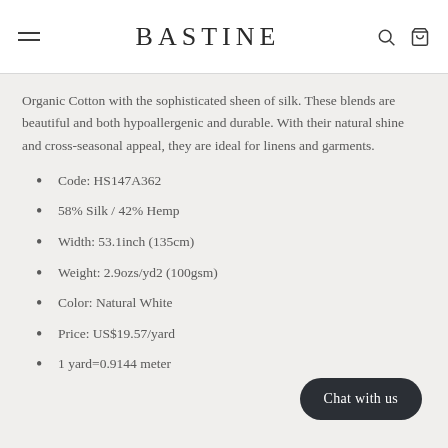BASTINE
Organic Cotton with the sophisticated sheen of silk. These blends are beautiful and both hypoallergenic and durable. With their natural shine and cross-seasonal appeal, they are ideal for linens and garments.
Code: HS147A362
58% Silk / 42% Hemp
Width: 53.1inch (135cm)
Weight: 2.9ozs/yd2 (100gsm)
Color: Natural White
Price: US$19.57/yard
1 yard=0.9144 meter